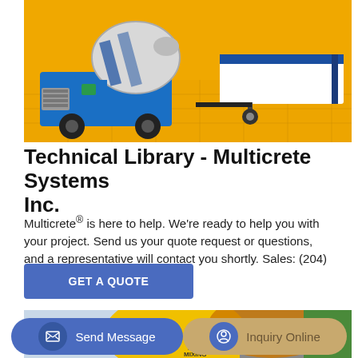[Figure (photo): Concrete mixer truck (blue/white) with mixing drum and a blue/white trailer on orange/yellow background]
Technical Library - Multicrete Systems Inc.
Multicrete® is here to help. We're ready to help you with your project. Send us your quote request or questions, and a representative will contact you shortly. Sales: (204) …
[Figure (other): Blue button labeled GET A QUOTE]
[Figure (photo): Partial view of yellow concrete mixing equipment with people and buildings in background]
[Figure (other): Bottom bar with Send Message button (blue, rounded) and Inquiry Online button (tan/gold, rounded)]